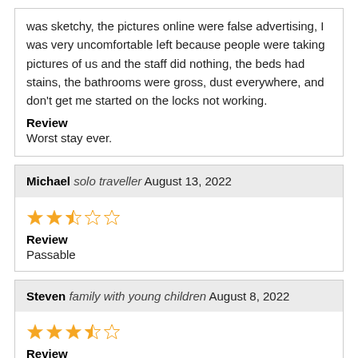was sketchy, the pictures online were false advertising, I was very uncomfortable left because people were taking pictures of us and the staff did nothing, the beds had stains, the bathrooms were gross, dust everywhere, and don't get me started on the locks not working.
Review
Worst stay ever.
Michael solo traveller August 13, 2022
[Figure (other): Star rating: 2.5 out of 5 stars]
Review
Passable
Steven family with young children August 8, 2022
[Figure (other): Star rating: 3.5 out of 5 stars]
Review
Good